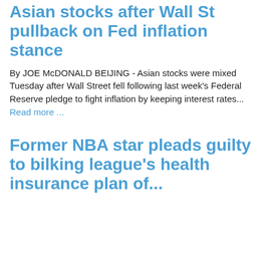Asian stocks after Wall St pullback on Fed inflation stance
By JOE McDONALD BEIJING - Asian stocks were mixed Tuesday after Wall Street fell following last week's Federal Reserve pledge to fight inflation by keeping interest rates... Read more ...
Former NBA star pleads guilty to bilking league's health insurance plan of...